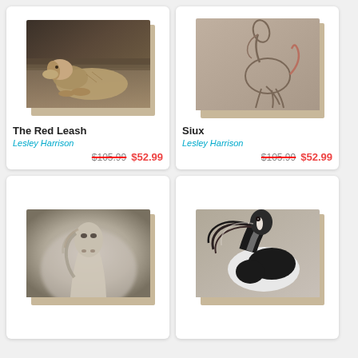[Figure (photo): Canvas art product card showing 'The Red Leash' by Lesley Harrison — a dog (Irish Wolfhound) lying on steps, sepia-toned canvas print in 3D perspective]
The Red Leash
Lesley Harrison
$105.99  $52.99
[Figure (photo): Canvas art product card showing 'Siux' by Lesley Harrison — a sketch/drawing of a rearing horse on taupe background, canvas print in 3D perspective]
Siux
Lesley Harrison
$105.99  $52.99
[Figure (photo): Canvas art product card showing a misty white horse portrait, soft foggy background, canvas print in 3D perspective]
[Figure (photo): Canvas art product card showing a black and white pinto horse with flowing mane, canvas print in 3D perspective]